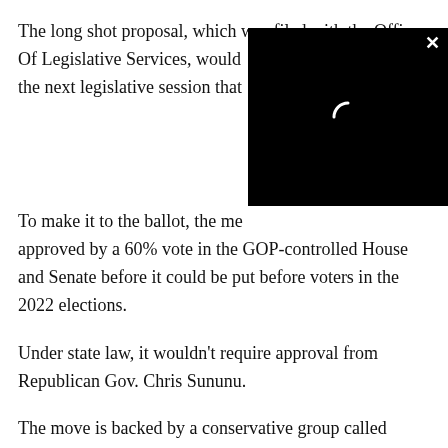The long shot proposal, which was filed with the Office Of Legislative Services, would [text obscured by overlay] the next legislative session that [text obscured by overlay]
[Figure (screenshot): Black video player overlay with a loading spinner (crescent moon shape) in center and an X close button in the top right corner]
To make it to the ballot, the me[asure would need to be] approved by a 60% vote in the GOP-controlled House and Senate before it could be put before voters in the 2022 elections.
Under state law, it wouldn't require approval from Republican Gov. Chris Sununu.
The move is backed by a conservative group called Liberty Block, which says New Hampshire voters haven't